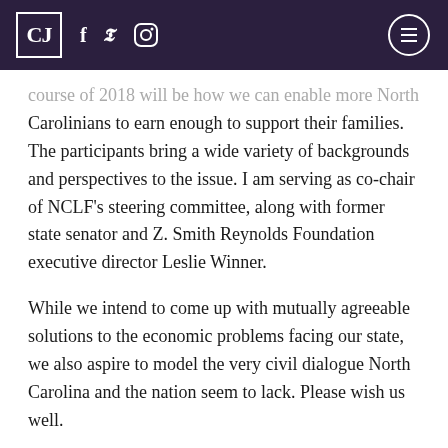CJ [logo] — social icons and menu
course of 2018 will be how we can enable more North Carolinians to earn enough to support their families. The participants bring a wide variety of backgrounds and perspectives to the issue. I am serving as co-chair of NCLF's steering committee, along with former state senator and Z. Smith Reynolds Foundation executive director Leslie Winner.
While we intend to come up with mutually agreeable solutions to the economic problems facing our state, we also aspire to model the very civil dialogue North Carolina and the nation seem to lack. Please wish us well.
John Hood is president of the Pope Foundation, a North Carolina grantmaker, and chairman of the John Locke Foundation, a leading policy think tank.